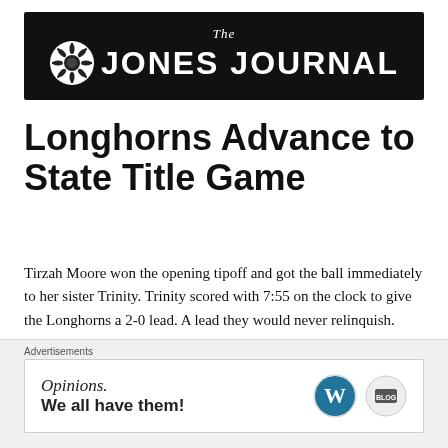[Figure (logo): The Jones Journal newspaper masthead logo — black banner with sunflower/wheel icon and bold white text reading 'The JONES JOURNAL']
Longhorns Advance to State Title Game
Tirzah Moore won the opening tipoff and got the ball immediately to her sister Trinity. Trinity scored with 7:55 on the clock to give the Longhorns a 2-0 lead. A lead they would never relinquish.
Advertisements
[Figure (other): Advertisement banner: 'Opinions. We all have them!' with WordPress and other logo icons on white background]